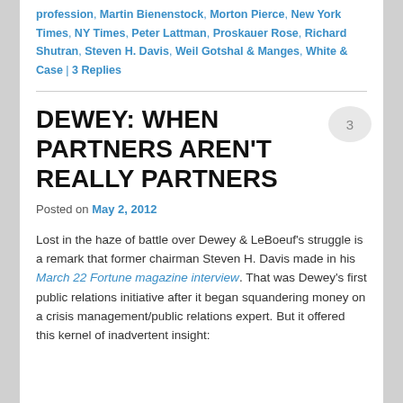profession, Martin Bienenstock, Morton Pierce, New York Times, NY Times, Peter Lattman, Proskauer Rose, Richard Shutran, Steven H. Davis, Weil Gotshal & Manges, White & Case | 3 Replies
DEWEY: WHEN PARTNERS AREN'T REALLY PARTNERS
Posted on May 2, 2012
Lost in the haze of battle over Dewey & LeBoeuf's struggle is a remark that former chairman Steven H. Davis made in his March 22 Fortune magazine interview. That was Dewey's first public relations initiative after it began squandering money on a crisis management/public relations expert. But it offered this kernel of inadvertent insight: